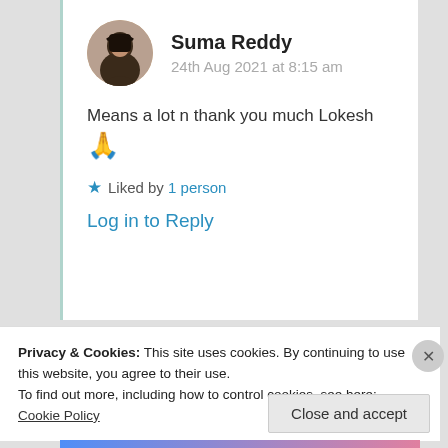Suma Reddy
24th Aug 2021 at 8:15 am
Means a lot n thank you much Lokesh 🙏
★ Liked by 1 person
Log in to Reply
Privacy & Cookies: This site uses cookies. By continuing to use this website, you agree to their use.
To find out more, including how to control cookies, see here: Cookie Policy
Close and accept